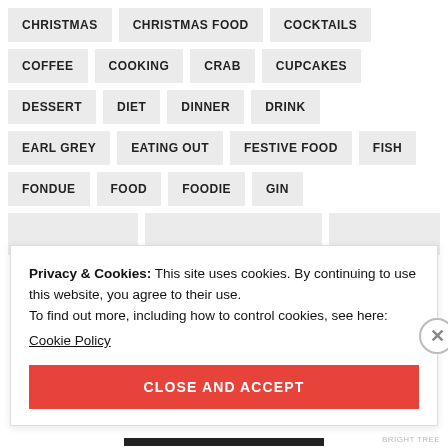CHRISTMAS
CHRISTMAS FOOD
COCKTAILS
COFFEE
COOKING
CRAB
CUPCAKES
DESSERT
DIET
DINNER
DRINK
EARL GREY
EATING OUT
FESTIVE FOOD
FISH
FONDUE
FOOD
FOODIE
GIN
Privacy & Cookies: This site uses cookies. By continuing to use this website, you agree to their use.
To find out more, including how to control cookies, see here:
Cookie Policy
CLOSE AND ACCEPT